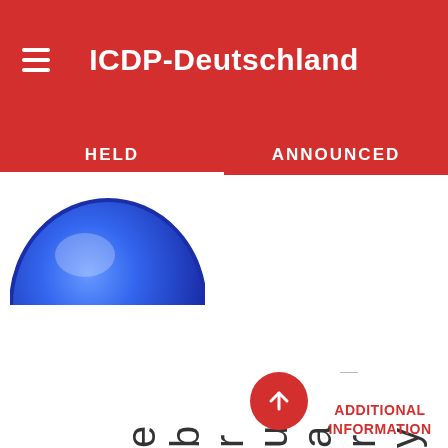ICDP-Deutschland
HELD    ANNOUNCED
[Figure (illustration): Partial blue circle/globe graphic cropped at top of content area]
e b r u a r y , 2 0 1 7
ADDITIONAL INFORMATION